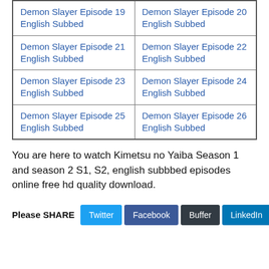| Demon Slayer Episode 19 English Subbed | Demon Slayer Episode 20 English Subbed |
| Demon Slayer Episode 21 English Subbed | Demon Slayer Episode 22 English Subbed |
| Demon Slayer Episode 23 English Subbed | Demon Slayer Episode 24 English Subbed |
| Demon Slayer Episode 25 English Subbed | Demon Slayer Episode 26 English Subbed |
You are here to watch Kimetsu no Yaiba Season 1 and season 2 S1, S2, english subbbed episodes online free hd quality download.
Please SHARE  Twitter  Facebook  Buffer  LinkedIn  Pin It